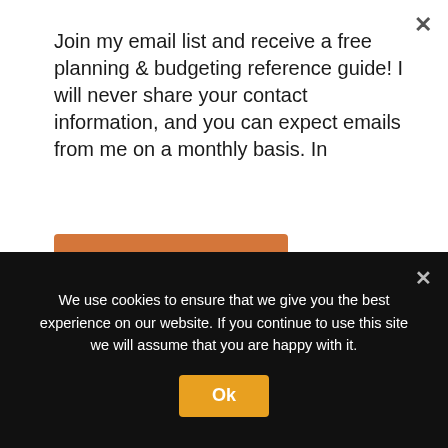Join my email list and receive a free planning & budgeting reference guide! I will never share your contact information, and you can expect emails from me on a monthly basis. In
Subscribe
newsletters and adds and rarely any urgent things that require my response.
I guess I use it as a break since I'm not on any social networks.
I'm going to follow your advice and work on changing that.
We use cookies to ensure that we give you the best experience on our website. If you continue to use this site we will assume that you are happy with it.
Ok